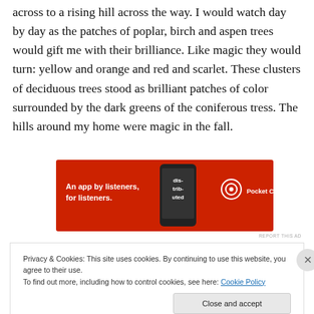across to a rising hill across the way. I would watch day by day as the patches of poplar, birch and aspen trees would gift me with their brilliance. Like magic they would turn: yellow and orange and red and scarlet. These clusters of deciduous trees stood as brilliant patches of color surrounded by the dark greens of the coniferous tress. The hills around my home were magic in the fall.
[Figure (infographic): Red advertisement banner for Pocket Casts app. Text reads: 'An app by listeners, for listeners.' with Pocket Casts logo and a phone image showing 'dis-trib-uted'.]
REPORT THIS AD
The barren...
Privacy & Cookies: This site uses cookies. By continuing to use this website, you agree to their use.
To find out more, including how to control cookies, see here: Cookie Policy
Close and accept
REPORT THIS AD